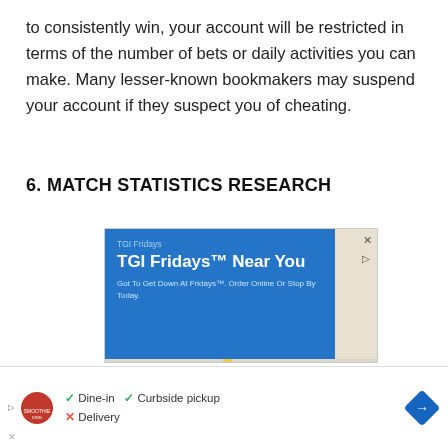to consistently win, your account will be restricted in terms of the number of bets or daily activities you can make. Many lesser-known bookmakers may suspend your account if they suspect you of cheating.
6. MATCH STATISTICS RESEARCH
[Figure (screenshot): Advertisement screenshot showing TGI Fridays ad with blue panel reading 'TGI Fridays Near You — Got To Get Down At Fridays. Order Online Or Stop By Today.' overlaid on a Google Maps view showing The Home Depot, route 773, and Hampton Inn & locations, with a navigation pin marker.]
[Figure (screenshot): Bottom advertisement banner for Smoothie King showing dine-in (check), curbside pickup (check), delivery (X), play triangle icon, close X, and a blue diamond navigation arrow.]